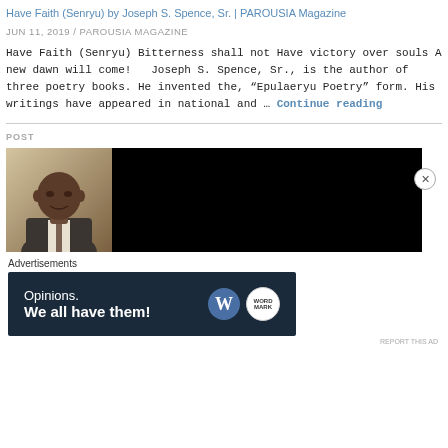Have Faith (Senryu) by Joseph S. Spence, Sr. | PAROUSIA Magazine
JUN 11, 2019 / PAROUSIA MAGAZINE
Have Faith (Senryu) Bitterness shall not Have victory over souls A new dawn will come!   Joseph S. Spence, Sr., is the author of three poetry books. He invented the, “Epulaeryu Poetry” form. His writings have appeared in national and … Continue reading
POST
[Figure (photo): Photo of a man in a suit on the left side, with a large black rectangle on the right side representing a video or media embed.]
Advertisements
[Figure (infographic): Advertisement banner with dark blue background reading 'Opinions. We all have them!' with WordPress and another circular logo on the right.]